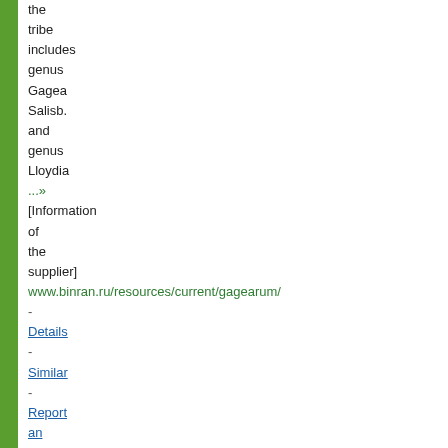the tribe includes genus Gagea Salisb. and genus Lloydia ...» [Information of the supplier] www.binran.ru/resources/current/gagearum/ - Details - Similar - Report an Error? ..
4. Amaryllidaceae.org Pascal Vigneron's web site aims at presenting the plant